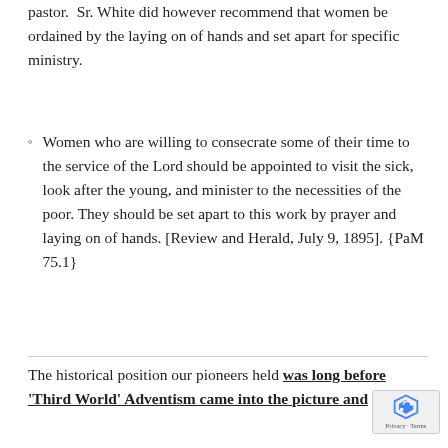pastor. Sr. White did however recommend that women be ordained by the laying on of hands and set apart for specific ministry.
Women who are willing to consecrate some of their time to the service of the Lord should be appointed to visit the sick, look after the young, and minister to the necessities of the poor. They should be set apart to this work by prayer and laying on of hands. [Review and Herald, July 9, 1895]. {PaM 75.1}
The historical position our pioneers held was long before 'Third World' Adventism came into the picture and